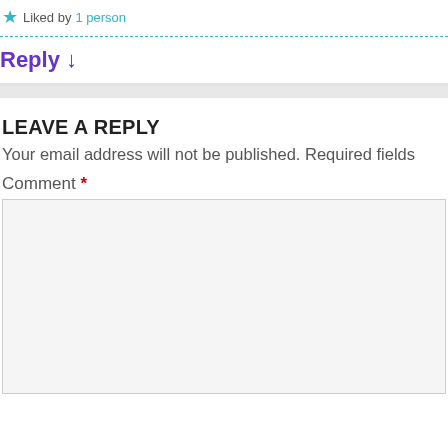★ Liked by 1 person
Reply ↓
LEAVE A REPLY
Your email address will not be published. Required fields
Comment *